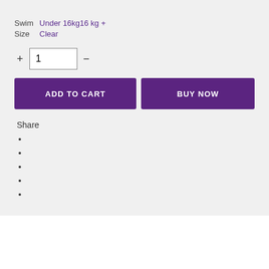Swim Size  Under 16kg16 kg +
Clear
+ 1 −
ADD TO CART
BUY NOW
Share
[Figure (other): Loading spinner arc at bottom center of white section]